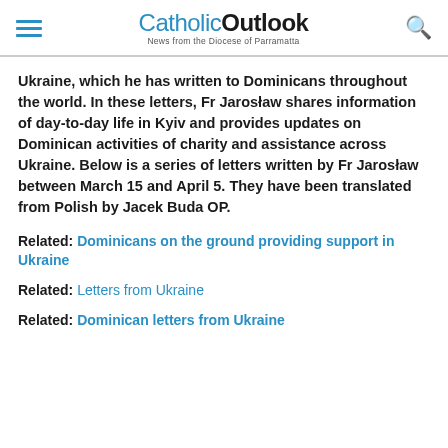CatholicOutlook — News from the Diocese of Parramatta
Ukraine, which he has written to Dominicans throughout the world. In these letters, Fr Jarosław shares information of day-to-day life in Kyiv and provides updates on Dominican activities of charity and assistance across Ukraine. Below is a series of letters written by Fr Jarosław between March 15 and April 5. They have been translated from Polish by Jacek Buda OP.
Related: Dominicans on the ground providing support in Ukraine
Related: Letters from Ukraine
Related: Dominican letters from Ukraine